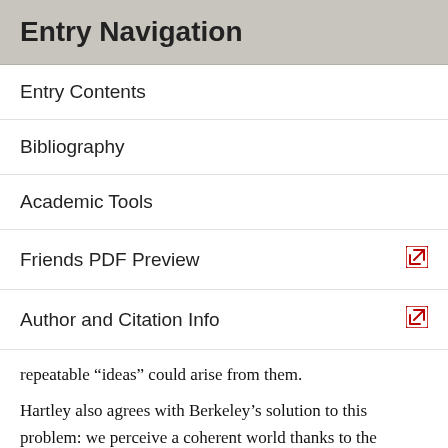Entry Navigation
Entry Contents
Bibliography
Academic Tools
Friends PDF Preview
Author and Citation Info
repeatable “ideas” could arise from them.
Hartley also agrees with Berkeley’s solution to this problem: we perceive a coherent world thanks to the generation of “ideas” (cognitive, semantic, and pragmatic responses to the world) through the “joint impression” of sensations from distinct sensory modalities — sight, hearing, and especially touch. As does Berkeley, Hartley identifies feeling or touch as “the fundamental source of information in respect of the essential properties of matter” and “our first and principle key to the knowledge of the external world” (OM 1, p. 39). The Hartle